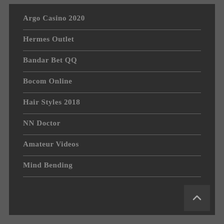Argo Casino 2020
Hermes Outlet
Bandar Bet QQ
Bocom Online
Hair Styles 2018
NN Doctor
Amateur Videos
Mind Bending